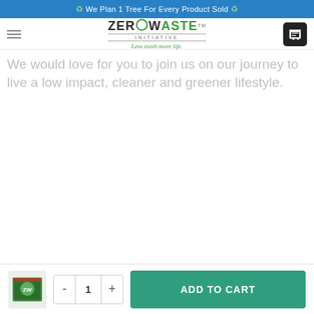♻ We Plan 1 Tree For Every Product Sold ♻
[Figure (logo): Zero Waste Initiative logo with recycling circle icon, tagline 'Less trash more life']
We would love for you to join us on our journey to live a low impact, cleaner and greener lifestyle.
[Figure (photo): Product image thumbnail shown in bottom bar - a green packaged product]
- 1 + ADD TO CART